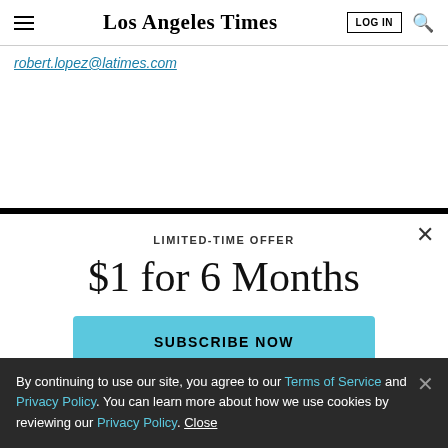Los Angeles Times — LOG IN [search]
robert.lopez@latimes.com
$1 for 6 Months
LIMITED-TIME OFFER
SUBSCRIBE NOW
By continuing to use our site, you agree to our Terms of Service and Privacy Policy. You can learn more about how we use cookies by reviewing our Privacy Policy. Close